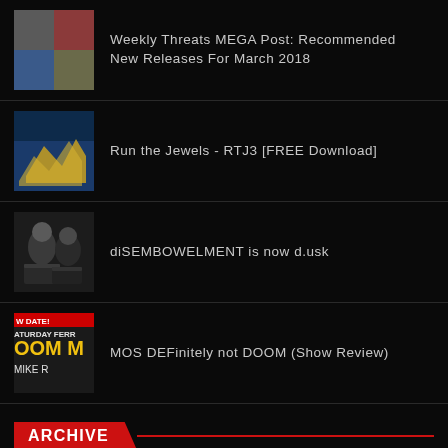Weekly Threats MEGA Post: Recommended New Releases For March 2018
Run the Jewels - RTJ3 [FREE Download]
diSEMBOWELMENT is now d.usk
MOS DEFinitely not DOOM (Show Review)
ARCHIVE
December 2011 (11)